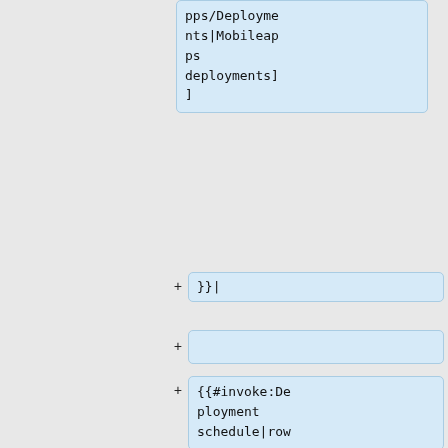pps/Deployments|Mobileapps deployments]]
+ }}|
+
+ {{#invoke:Deployment schedule|row
+ |when=2015-10-28 16:00 SF
+ |length=1
+ |window=[[SWAT deploys|Even[SWAT]